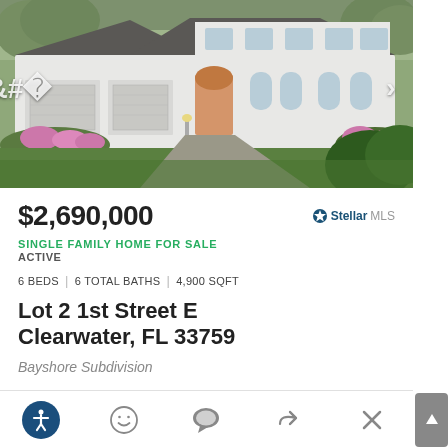[Figure (photo): Exterior photo of a large white two-story single family home with dark roof, arched windows, two-car garage, driveway, and landscaping with flowers and shrubs]
$2,690,000
SINGLE FAMILY HOME FOR SALE
ACTIVE
6 BEDS  |  6 TOTAL BATHS  |  4,900 SQFT
Lot 2 1st Street E
Clearwater, FL 33759
Bayshore Subdivision